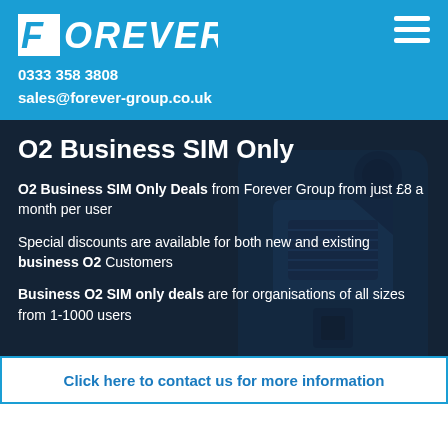FOREVER
0333 358 3808
sales@forever-group.co.uk
[Figure (screenshot): Dark background showing a blue SIM card with circular cutouts and O2 branding, partially visible]
O2 Business SIM Only
O2 Business SIM Only Deals from Forever Group from just £8 a month per user
Special discounts are available for both new and existing business O2 Customers
Business O2 SIM only deals are for organisations of all sizes from 1-1000 users
Click here to contact us for more information